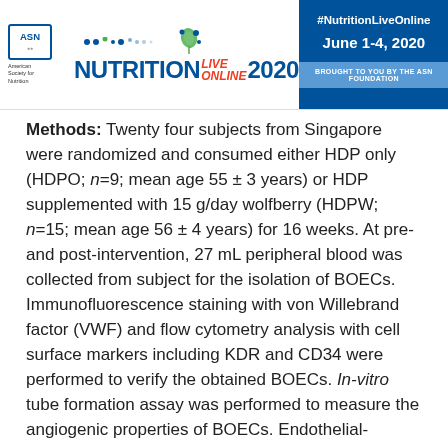[Figure (logo): Nutrition Live Online 2020 conference header with ASN logo, event name, hashtag #NutritionLiveOnline, date June 1-4 2020, and 'Brought to you by the ASN Foundation' banner]
Methods: Twenty four subjects from Singapore were randomized and consumed either HDP only (HDPO; n=9; mean age 55 ± 3 years) or HDP supplemented with 15 g/day wolfberry (HDPW; n=15; mean age 56 ± 4 years) for 16 weeks. At pre- and post-intervention, 27 mL peripheral blood was collected from subject for the isolation of BOECs. Immunofluorescence staining with von Willebrand factor (VWF) and flow cytometry analysis with cell surface markers including KDR and CD34 were performed to verify the obtained BOECs. In-vitro tube formation assay was performed to measure the angiogenic properties of BOECs. Endothelial-dependent flow-mediated dilation (FMD) and intima-media thickness (IMT) were also measured by ultrasonographic imaging.